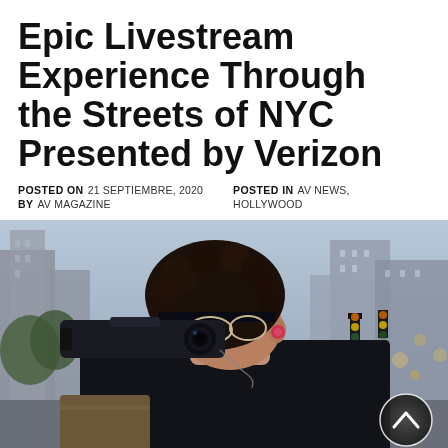Epic Livestream Experience Through the Streets of NYC Presented by Verizon
POSTED ON 21 SEPTIEMBRE, 2020   POSTED IN AV NEWS, HOLLYWOOD   BY AV MAGAZINE
[Figure (photo): A man with curly dark hair, wearing glasses and a pink/red earphone, holding a camera viewfinder to his eye. He is wearing a dark jacket. In the background is a New York City street scene with buildings, trees, and traffic lights. A circular scroll-up button with a chevron arrow is overlaid in the bottom right corner.]